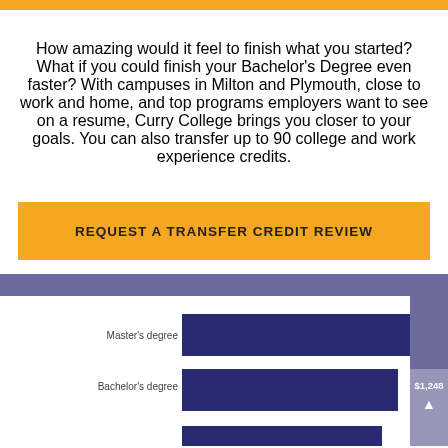How amazing would it feel to finish what you started? What if you could finish your Bachelor's Degree even faster? With campuses in Milton and Plymouth, close to work and home, and top programs employers want to see on a resume, Curry College brings you closer to your goals. You can also transfer up to 90 college and work experience credits.
REQUEST A TRANSFER CREDIT REVIEW
[Figure (bar-chart): Horizontal bar chart on purple background showing earnings by degree level. Master's degree bar extends full width. Bachelor's degree bar nearly full width. A scroll indicator shows $1,248.]